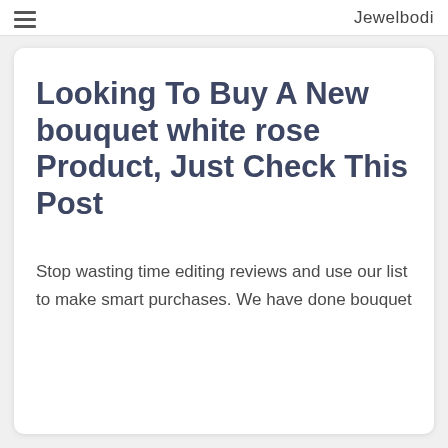Jewelbodi
Looking To Buy A New bouquet white rose Product, Just Check This Post
Stop wasting time editing reviews and use our list to make smart purchases. We have done bouquet